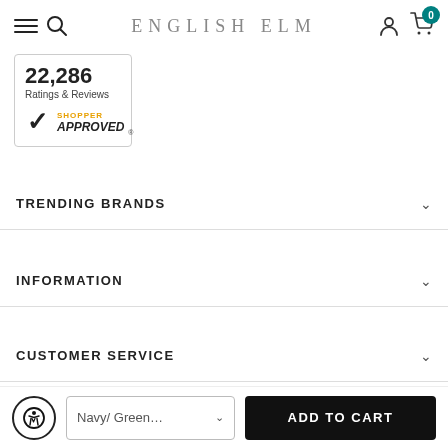ENGLISH ELM
[Figure (logo): Shopper Approved badge showing 22,286 Ratings & Reviews with checkmark logo]
TRENDING BRANDS
INFORMATION
CUSTOMER SERVICE
SIGN UP FOR NEWSLETTER
Receive our latest updates about our products and promotions
Navy/ Green... | ADD TO CART